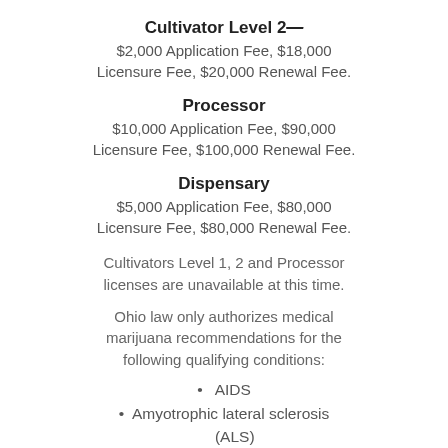Cultivator Level 2
$2,000 Application Fee, $18,000 Licensure Fee, $20,000 Renewal Fee.
Processor
$10,000 Application Fee, $90,000 Licensure Fee, $100,000 Renewal Fee.
Dispensary
$5,000 Application Fee, $80,000 Licensure Fee, $80,000 Renewal Fee.
Cultivators Level 1, 2 and Processor licenses are unavailable at this time.
Ohio law only authorizes medical marijuana recommendations for the following qualifying conditions:
AIDS
Amyotrophic lateral sclerosis (ALS)
Alzheimer's disease